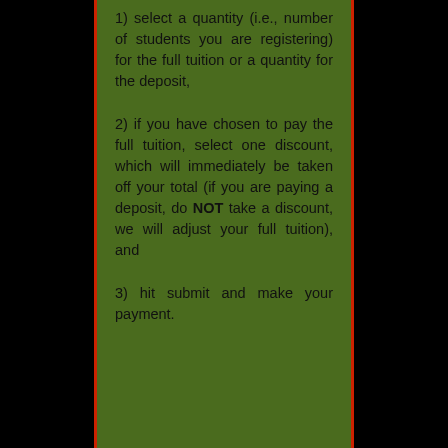1)  select a quantity (i.e., number of students you are registering) for the full tuition or a quantity for the deposit,
2)  if you have chosen to pay the full tuition, select one discount, which will immediately be taken off your total (if you are paying a deposit, do NOT take a discount, we will adjust your full tuition), and
3)  hit submit and make your payment.